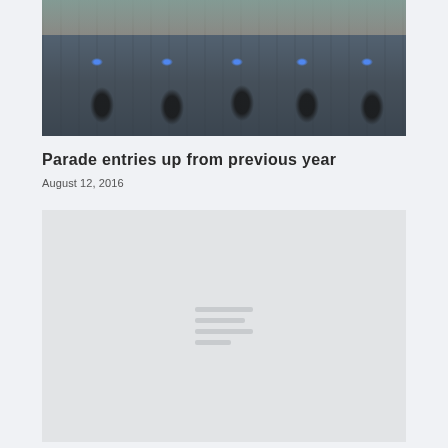[Figure (photo): Motorcycle parade on a city street with crowds lining the sidewalks and blue police lights visible]
Parade entries up from previous year
August 12, 2016
[Figure (photo): Image loading placeholder with grey background and loading indicator lines]